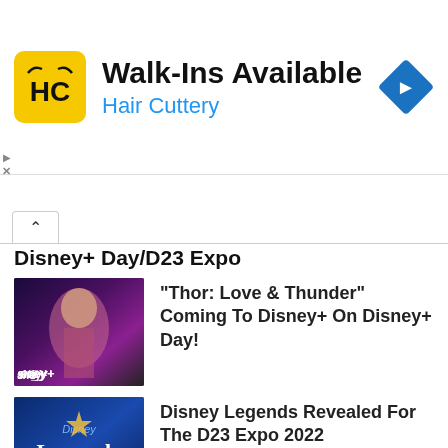[Figure (screenshot): Hair Cuttery advertisement banner with yellow HC logo, 'Walk-Ins Available' headline and 'Hair Cuttery' subtitle in blue, blue diamond navigation arrow icon on right]
Disney+ Day/D23 Expo
“Thor: Love & Thunder” Coming To Disney+ On Disney+ Day!
Disney Legends Revealed For The D23 Expo 2022
“Big Shot” Cast To Attend D23 Expo Photo Opportunity